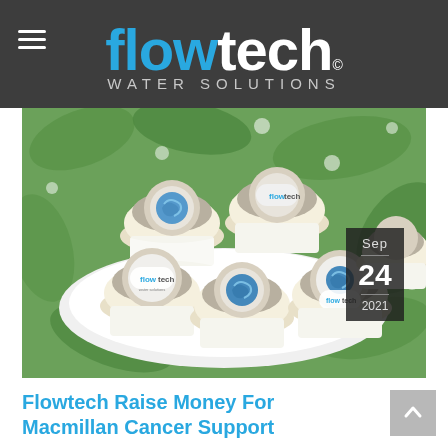flowtech© WATER SOLUTIONS
[Figure (photo): Five cupcakes on a white plate decorated with Flowtech Water Solutions branded toppers — grey fondant discs with either the flowtech logo or a blue water swirl design. Background shows green tropical leaves with white polka dots.]
Flowtech Raise Money For Macmillan Cancer Support